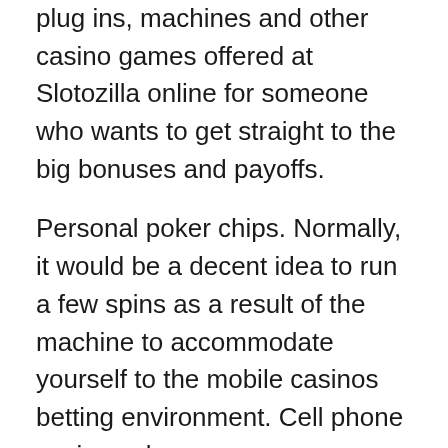plug ins, machines and other casino games offered at Slotozilla online for someone who wants to get straight to the big bonuses and payoffs.
Personal poker chips. Normally, it would be a decent idea to run a few spins as a result of the machine to accommodate yourself to the mobile casinos betting environment. Cell phone casinos also may very dangerous while there are usually many phony such websites which may destroy somebody. It is key to understand the being employed mechanism to become a successful bettor in online natnupreneur.com gambling den activities. It is an important significantly better prospect for individuals to receive a good time and thrilling poker online. Possibly even even though